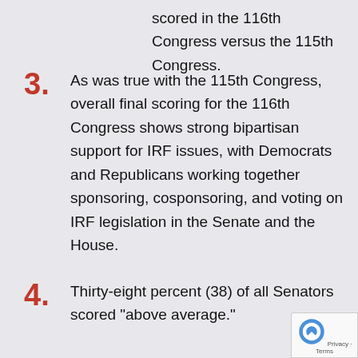scored in the 116th Congress versus the 115th Congress.
3. As was true with the 115th Congress, overall final scoring for the 116th Congress shows strong bipartisan support for IRF issues, with Democrats and Republicans working together sponsoring, cosponsoring, and voting on IRF legislation in the Senate and the House.
4. Thirty-eight percent (38) of all Senators scored "above average."